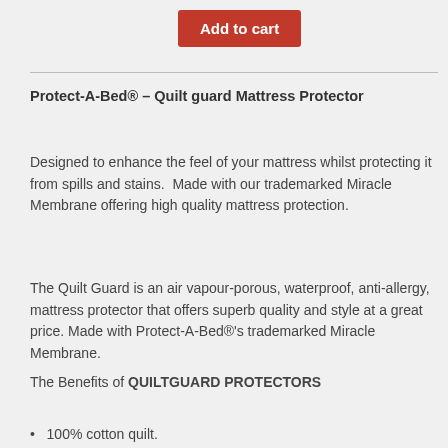Add to cart
Protect-A-Bed® – Quilt guard Mattress Protector
Designed to enhance the feel of your mattress whilst protecting it from spills and stains.  Made with our trademarked Miracle Membrane offering high quality mattress protection.
The Quilt Guard is an air vapour-porous, waterproof, anti-allergy, mattress protector that offers superb quality and style at a great price. Made with Protect-A-Bed®'s trademarked Miracle Membrane.
The Benefits of QUILTGUARD PROTECTORS
100% cotton quilt.